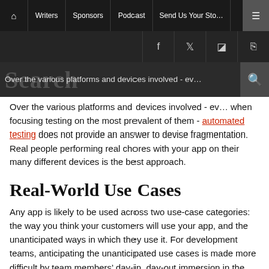Home | Writers | Sponsors | Podcast | Send Us Your Story | Menu
Facebook | Twitter | Instagram | RSS
Over the various platforms and devices involved - even when focusing testing on the most prevalent of them - automated testing does not provide an answer to devise fragmentation. Real people performing real chores with your app on their many different devices is the best approach.
Real-World Use Cases
Any app is likely to be used across two use-case categories: the way you think your customers will use your app, and the unanticipated ways in which they use it. For development teams, anticipating the unanticipated use cases is made more difficult by team members' day-in, day-out immersion in the